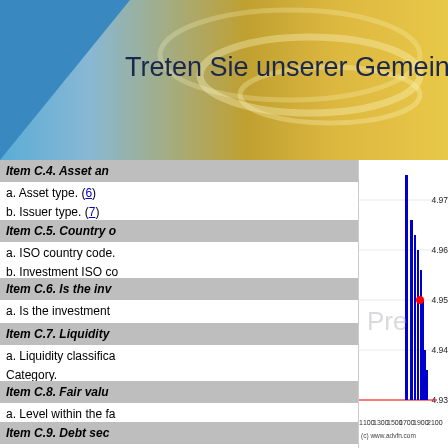[Figure (screenshot): Top banner with blue triangle on left, gold/tan wave pattern on right, text 'Treten Sie unserer Gemeinscha' visible]
Item C.4. Asset an
a. Asset type. (6)
b. Issuer type. (7)
Item C.5. Country o
a. ISO country code.
b. Investment ISO co
Item C.6. Is the inv
a. Is the investment
Item C.7. Liquidity
a. Liquidity classifica
Category.
Item C.8. Fair valu
a. Level within the fa
Item C.9. Debt sec
N/A
[Figure (continuous-plot): Stock price chart from advfn.com showing price range 4.93-4.97 over x-axis range 1100-2100. Blue vertical price bars with red horizontal line near bottom.]
[Figure (screenshot): ADVFN Trades (Time & Sales) panel showing a dark blue header with ADVFN logo and a table of trades with columns Num, Exch., Price, Size, Type, C, T, Bid, Offer, Time showing green rows with NYSE trades around price 70.07]